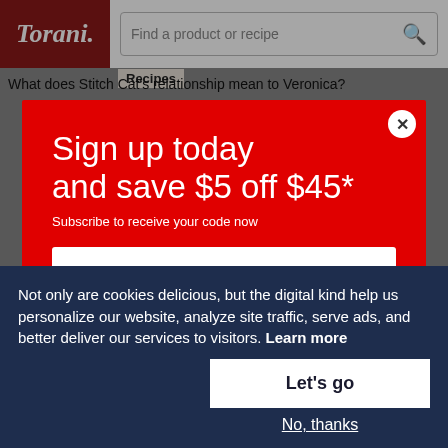[Figure (screenshot): Torani website navigation bar with logo and search field showing 'Find a product or recipe', with partial page text 'What does Stitch Cat's relationship mean to Veronica?' and 'Recipes' nav link visible behind modal]
Sign up today and save $5 off $45*
Subscribe to receive your code now
Email Address
Sign Up Now
Not only are cookies delicious, but the digital kind help us personalize our website, analyze site traffic, serve ads, and better deliver our services to visitors. Learn more
Let's go
No, thanks